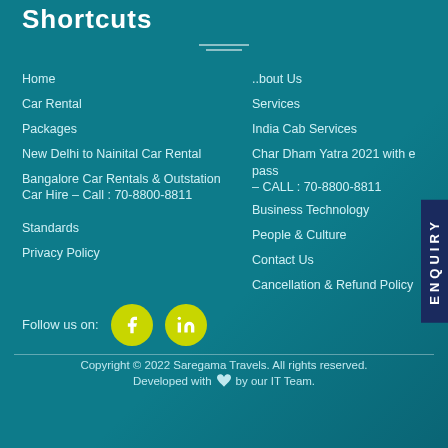Shortcuts
Home
About Us
Car Rental
Services
Packages
India Cab Services
New Delhi to Nainital Car Rental
Char Dham Yatra 2021 with e pass – CALL : 70-8800-8811
Bangalore Car Rentals & Outstation Car Hire – Call : 70-8800-8811
Business Technology
People & Culture
Standards
Contact Us
Privacy Policy
Cancellation & Refund Policy
Follow us on:
ENQUIRY
Copyright © 2022 Saregama Travels. All rights reserved.
Developed with ♥ by our IT Team.